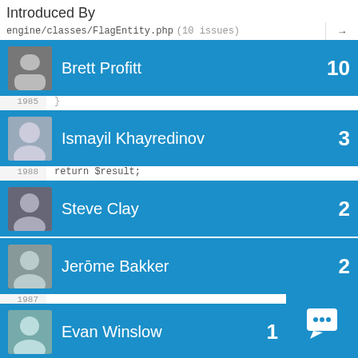Introduced By
engine/classes/FlagEntity.php (10 issues)
Brett Profitt — 10
Ismayil Khayredinov — 3
Steve Clay — 2
Jerōme Bakker — 2
Evan Winslow — 1
Find a user...
1987    $result = $result & $col
1988    }
1990    return $result;
Jeroen Dalsem — 3 — 1 ignored issue – show
Ismayil Khayredinov
1992
1993  /**
2101